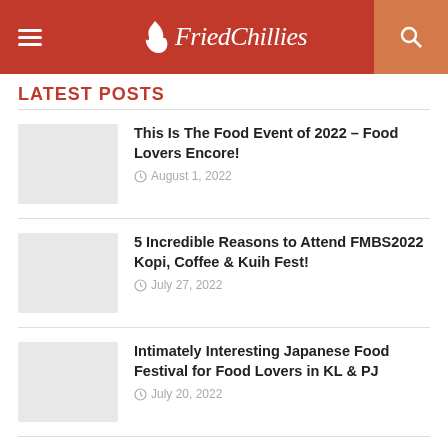FriedChillies
LATEST POSTS
This Is The Food Event of 2022 – Food Lovers Encore!
August 1, 2022
5 Incredible Reasons to Attend FMBS2022 Kopi, Coffee & Kuih Fest!
July 27, 2022
Intimately Interesting Japanese Food Festival for Food Lovers in KL & PJ
July 20, 2022
The Best 5 Barbeque Joints for Food Lovers in KL & PJ